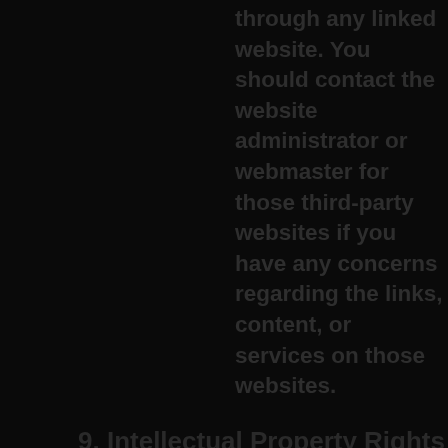through any linked website. You should contact the website administrator or webmaster for those third-party websites if you have any concerns regarding the links, content, or services on those websites.
9. Intellectual Property Rights
9.1 We own or have the license to use all text, graphics, user interfaces, visual interfaces, photographs, videos, trademarks, logos, sounds, music, artwork, and computer code, including the design, structure, selection, coordination, expression, "look and feel," and the arrangement of this content, contained on this Website